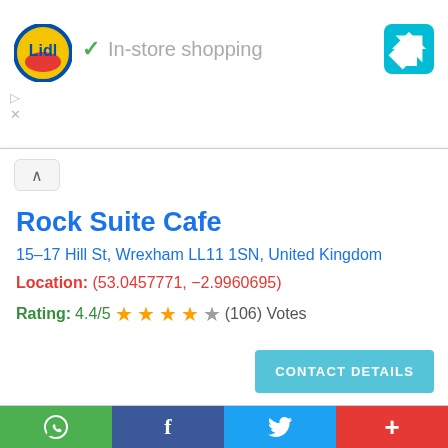[Figure (screenshot): Lidl logo with 'In-store shopping' text and navigation icon - advertisement banner]
Rock Suite Cafe
15–17 Hill St, Wrexham LL11 1SN, United Kingdom
Location: (53.0457771, −2.9960695)
Rating: 4.4/5 ★★★★☆ (106) Votes
[Figure (map): Street map showing area around Rock Suite Cafe in Wrexham, showing Westminster Dr, Spring Rd, Cunliffe St, A5152, Penymaes Ave, and partial labels for Finch Centre and Association Club]
WhatsApp | Facebook | Twitter | More